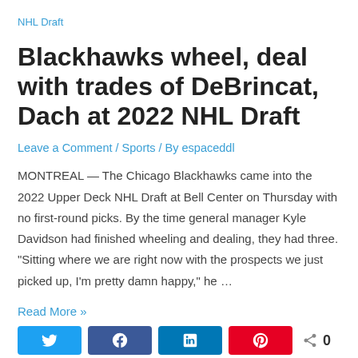NHL Draft
Blackhawks wheel, deal with trades of DeBrincat, Dach at 2022 NHL Draft
Leave a Comment / Sports / By espaceddl
MONTREAL — The Chicago Blackhawks came into the 2022 Upper Deck NHL Draft at Bell Center on Thursday with no first-round picks. By the time general manager Kyle Davidson had finished wheeling and dealing, they had three. "Sitting where we are right now with the prospects we just picked up, I'm pretty damn happy," he …
Read More »